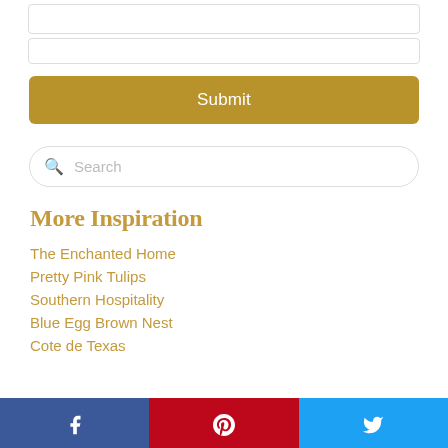[Figure (screenshot): Form input fields at top of page]
Submit
[Figure (screenshot): Search bar with magnifying glass icon and placeholder text 'Search']
More Inspiration
The Enchanted Home
Pretty Pink Tulips
Southern Hospitality
Blue Egg Brown Nest
Cote de Texas
[Figure (screenshot): Social sharing buttons: Facebook (blue), Pinterest (red), Twitter (light blue)]